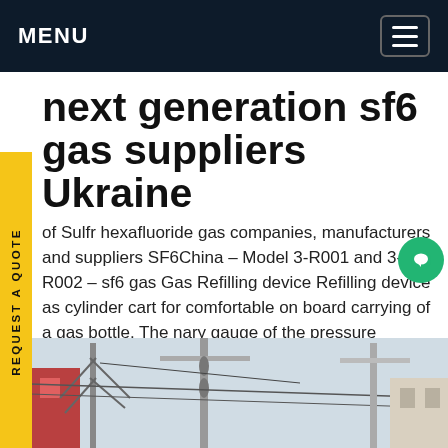MENU
next generation sf6 gas suppliers Ukraine
of Sulfr hexafluoride gas companies, manufacturers and suppliers SF6China – Model 3-R001 and 3-001-R002 – sf6 gas Gas Refilling device Refilling device as cylinder cart for comfortable on board carrying of a gas bottle. The nary gauge of the pressure reducer displays Get price
[Figure (photo): Outdoor electrical substation infrastructure with high voltage equipment, poles, and cables against a building background.]